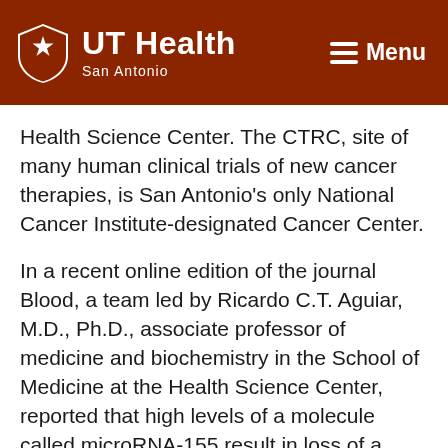UT Health San Antonio — Menu
Health Science Center. The CTRC, site of many human clinical trials of new cancer therapies, is San Antonio's only National Cancer Institute-designated Cancer Center.
In a recent online edition of the journal Blood, a team led by Ricardo C.T. Aguiar, M.D., Ph.D., associate professor of medicine and biochemistry in the School of Medicine at the Health Science Center, reported that high levels of a molecule called microRNA-155 result in loss of a tumor-suppressor gene, the retinoblastoma (RB) gene.